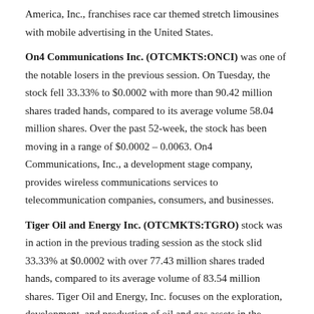America, Inc., franchises race car themed stretch limousines with mobile advertising in the United States.
On4 Communications Inc. (OTCMKTS:ONCI) was one of the notable losers in the previous session. On Tuesday, the stock fell 33.33% to $0.0002 with more than 90.42 million shares traded hands, compared to its average volume 58.04 million shares. Over the past 52-week, the stock has been moving in a range of $0.0002 – 0.0063. On4 Communications, Inc., a development stage company, provides wireless communications services to telecommunication companies, consumers, and businesses.
Tiger Oil and Energy Inc. (OTCMKTS:TGRO) stock was in action in the previous trading session as the stock slid 33.33% at $0.0002 with over 77.43 million shares traded hands, compared to its average volume of 83.54 million shares. Tiger Oil and Energy, Inc. focuses on the exploration, development, and production of oil and gas assets in the United States.